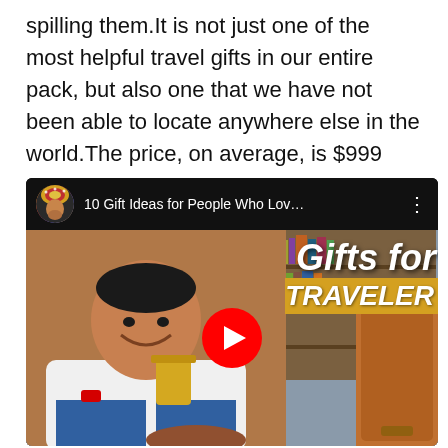spilling them.It is not just one of the most helpful travel gifts in our entire pack, but also one that we have not been able to locate anywhere else in the world.The price, on average, is $999
[Figure (screenshot): YouTube video thumbnail showing '10 Gift Ideas for People Who Lov...' with a woman smiling and holding a gold cup, text overlay reading 'Gifts for TRAVELER', red play button in center]